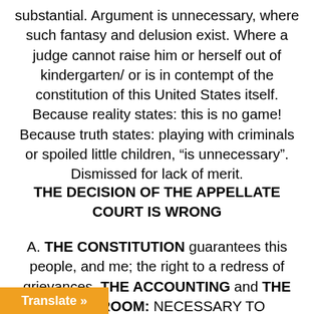substantial. Argument is unnecessary, where such fantasy and delusion exist. Where a judge cannot raise him or herself out of kindergarten/ or is in contempt of the constitution of this United States itself. Because reality states: this is no game! Because truth states: playing with criminals or spoiled little children, “is unnecessary”. Dismissed for lack of merit.
THE DECISION OF THE APPELLATE COURT IS WRONG
A. THE CONSTITUTION guarantees this people, and me; the right to a redress of grievances. THE ACCOUNTING and THE COURTROOM: NECESSARY TO UNDERSTAND, what our [ha]ve done to us. AND TO FIND TRUTH,